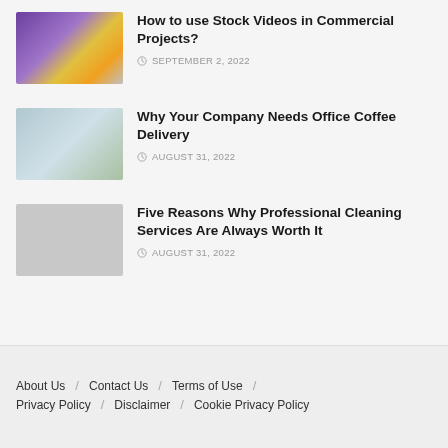How to use Stock Videos in Commercial Projects? SEPTEMBER 2, 2022
Why Your Company Needs Office Coffee Delivery AUGUST 31, 2022
Five Reasons Why Professional Cleaning Services Are Always Worth It AUGUST 31, 2022
About Us / Contact Us / Terms of Use / Privacy Policy / Disclaimer / Cookie Privacy Policy